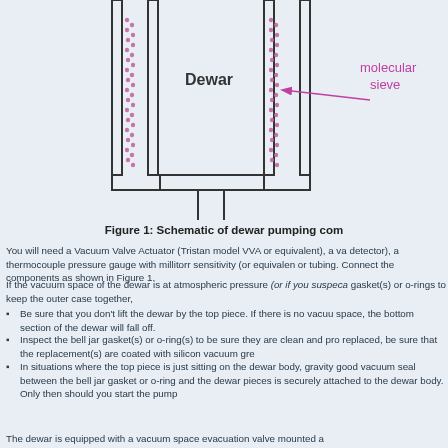[Figure (schematic): Schematic diagram of a dewar pumping component showing a cross-section of a dewar vessel with molecular sieve material indicated by a pink/magenta arrow pointing to dotted regions inside the vessel walls. The dewar label is shown inside the vessel and 'molecular sieve' label with arrow points to the dotted region on the right inner wall.]
Figure 1: Schematic of dewar pumping com
You will need a Vacuum Valve Actuator (Tristan model VVA or equivalent), a va detector), a thermocouple pressure gauge with millitorr sensitivity (or equivalen or tubing. Connect the components as shown in Figure 1.
If the vacuum space of the dewar is at atmospheric pressure (or if you suspeca gasket(s) or o-rings to keep the outer case together,
Be sure that you don't lift the dewar by the top piece. If there is no vacuu space, the bottom section of the dewar will fall off.
Inspect the bell jar gasket(s) or o-ring(s) to be sure they are clean and pro replaced, be sure that the replacement(s) are coated with silicon vacuum gre
In situations where the top piece is just sitting on the dewar body, gravity good vacuum seal between the bell jar gasket or o-ring and the dewar pieces is securely attached to the dewar body. Only then should you start the pump
The dewar is equipped with a vacuum space evacuation valve mounted a